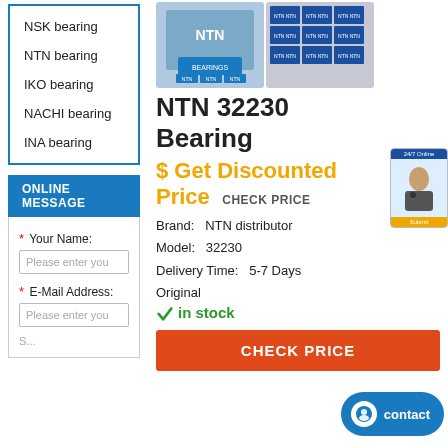NSK bearing
NTN bearing
IKO bearing
NACHI bearing
INA bearing
ONLINE MESSAGE
* Your Name:
Please enter you
* E-Mail Address:
Please enter you
[Figure (photo): NTN bearing product photos showing NTN branded bearings in packaging]
NTN 32230 Bearing
$ Get Discounted Price  CHECK PRICE
Brand:   NTN distributor
Model:   32230
Delivery Time:   5-7 Days
Original
✓ in stock
CHECK PRICE
contact